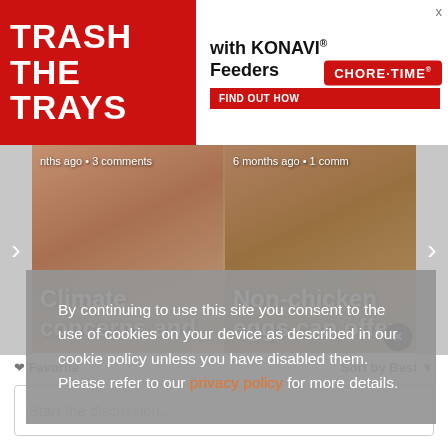[Figure (screenshot): Advertisement banner: 'TRASH THE TRAYS with KONAVI Feeders - FIND OUT HOW - CHORE-TIME']
[Figure (screenshot): Article slider showing two article cards: 'Climate concerns and' (left) and 'Non-chicken eggs can offer' (right) with navigation arrows]
By continuing to use this site you consent to the use of cookies on your device as described in our cookie policy unless you have disabled them. Please refer to our privacy policy for more details.
Favorite
Sort by Best
Start the discussion...
LOG IN WITH
[Figure (screenshot): Social login icons: Disqus (D), Facebook (f), Twitter bird, Google (G)]